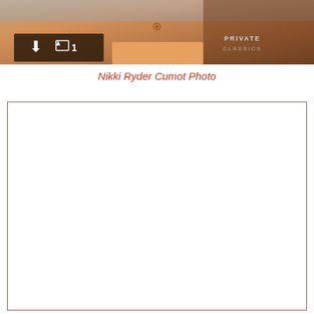[Figure (photo): Cropped photo banner showing a person's midsection with colorful clothing, overlaid with a dark download button showing a download icon and image count '1', and 'PRIVATE CLASSICS' text in the top right corner]
Nikki Ryder Cumot Photo
[Figure (other): Large empty white box with a dark red/maroon border, representing a content area placeholder]